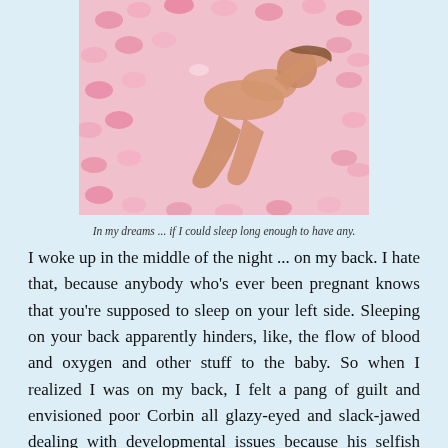[Figure (photo): A person lying on a bed covered with pink rose petals or pink flowers, curled on their side, photographed from above.]
In my dreams ... if I could sleep long enough to have any.
I woke up in the middle of the night ... on my back. I hate that, because anybody who's ever been pregnant knows that you're supposed to sleep on your left side. Sleeping on your back apparently hinders, like, the flow of blood and oxygen and other stuff to the baby. So when I realized I was on my back, I felt a pang of guilt and envisioned poor Corbin all glazy-eyed and slack-jawed dealing with developmental issues because his selfish back-sleeping mother deprived him of vital nutrients in